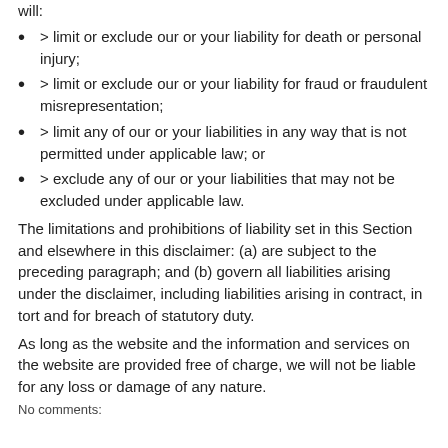will:
> limit or exclude our or your liability for death or personal injury;
> limit or exclude our or your liability for fraud or fraudulent misrepresentation;
> limit any of our or your liabilities in any way that is not permitted under applicable law; or
> exclude any of our or your liabilities that may not be excluded under applicable law.
The limitations and prohibitions of liability set in this Section and elsewhere in this disclaimer: (a) are subject to the preceding paragraph; and (b) govern all liabilities arising under the disclaimer, including liabilities arising in contract, in tort and for breach of statutory duty.
As long as the website and the information and services on the website are provided free of charge, we will not be liable for any loss or damage of any nature.
No comments: